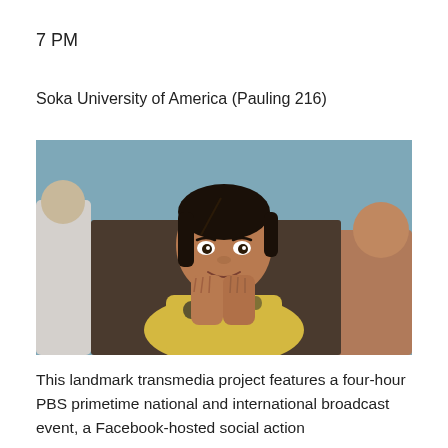7 PM
Soka University of America (Pauling 216)
[Figure (photo): A young South Asian girl in a yellow and patterned top smiling with her hands pressed together in a prayer or greeting gesture (namaste). Additional figures are visible in the background.]
This landmark transmedia project features a four-hour PBS primetime national and international broadcast event, a Facebook-hosted social action